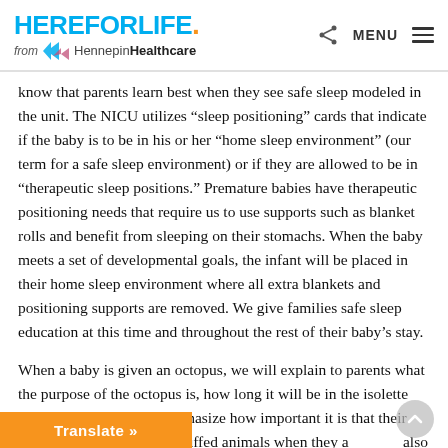HEREFORLIFE. from Hennepin Healthcare
know that parents learn best when they see safe sleep modeled in the unit. The NICU utilizes “sleep positioning” cards that indicate if the baby is to be in his or her “home sleep environment” (our term for a safe sleep environment) or if they are allowed to be in “therapeutic sleep positions.” Premature babies have therapeutic positioning needs that require us to use supports such as blanket rolls and benefit from sleeping on their stomachs. When the baby meets a set of developmental goals, the infant will be placed in their home sleep environment where all extra blankets and positioning supports are removed. We give families safe sleep education at this time and throughout the rest of their baby’s stay.
When a baby is given an octopus, we will explain to parents what the purpose of the octopus is, how long it will be in the isolette with the baby and will emphasize how important it is that their baby does not sleep with stuffed animals when they a also decided that when a baby gets big